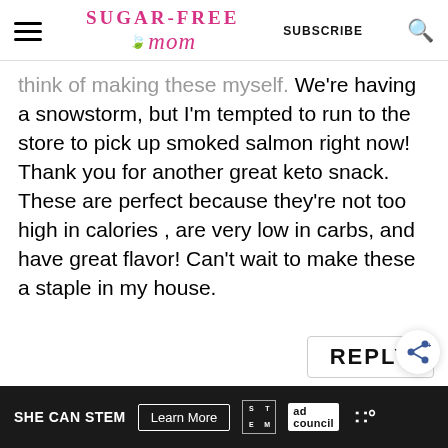Sugar-Free Mom | SUBSCRIBE
think of making these myself. We're having a snowstorm, but I'm tempted to run to the store to pick up smoked salmon right now! Thank you for another great keto snack. These are perfect because they're not too high in calories , are very low in carbs, and have great flavor! Can't wait to make these a staple in my house.
REPLY
SHE CAN STEM Learn More